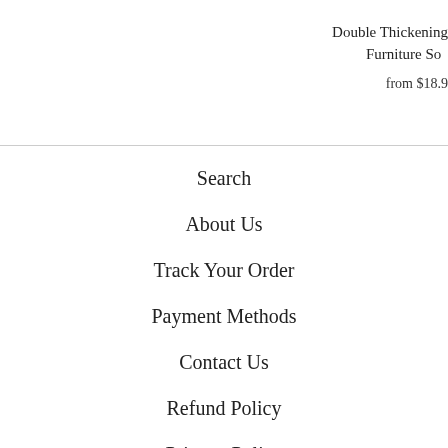Double Thickening Furniture Soc
from $18.9
Search
About Us
Track Your Order
Payment Methods
Contact Us
Refund Policy
Privacy Policy
Delivery Policy